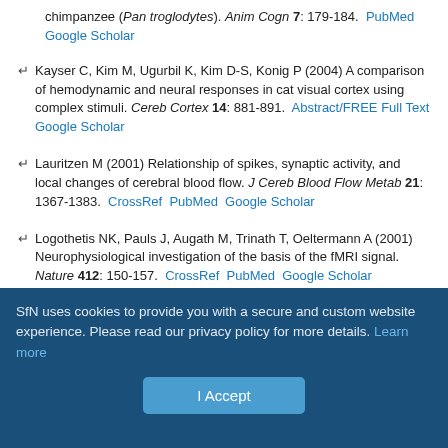chimpanzee (Pan troglodytes). Anim Cogn 7: 179-184. PubMed Google Scholar
Kayser C, Kim M, Ugurbil K, Kim D-S, Konig P (2004) A comparison of hemodynamic and neural responses in cat visual cortex using complex stimuli. Cereb Cortex 14: 881-891. Abstract/FREE Full Text Google Scholar
Lauritzen M (2001) Relationship of spikes, synaptic activity, and local changes of cerebral blood flow. J Cereb Blood Flow Metab 21: 1367-1383. CrossRef PubMed Google Scholar
Logothetis NK, Pauls J, Augath M, Trinath T, Oeltermann A (2001) Neurophysiological investigation of the basis of the fMRI signal. Nature 412: 150-157. CrossRef PubMed Google Scholar
Logothetis NK, Merkle H, Augath M, Trinath T, Ugurbil K (2002) Ultra high-
SfN uses cookies to provide you with a secure and custom website experience. Please read our privacy policy for more details. Learn more